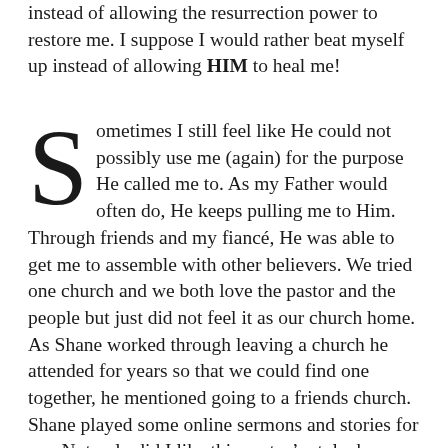instead of allowing the resurrection power to restore me. I suppose I would rather beat myself up instead of allowing HIM to heal me!
Sometimes I still feel like He could not possibly use me (again) for the purpose He called me to. As my Father would often do, He keeps pulling me to Him. Through friends and my fiancé, He was able to get me to assemble with other believers. We tried one church and we both love the pastor and the people but just did not feel it as our church home. As Shane worked through leaving a church he attended for years so that we could find one together, he mentioned going to a friends church. Shane played some online sermons and stories for me. Not only did I like this pastor's style, he was saying what I really needed to hear. Yesterday was the first day we attended that church. The Holy Spirit was speaking to